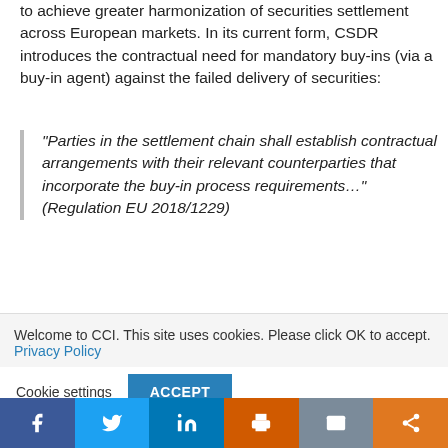to achieve greater harmonization of securities settlement across European markets. In its current form, CSDR introduces the contractual need for mandatory buy-ins (via a buy-in agent) against the failed delivery of securities:
“Parties in the settlement chain shall establish contractual arrangements with their relevant counterparties that incorporate the buy-in process requirements…” (Regulation EU 2018/1229)
Welcome to CCI. This site uses cookies. Please click OK to accept. Privacy Policy
Cookie settings   ACCEPT
Facebook | Twitter | LinkedIn | Print | Email | Share